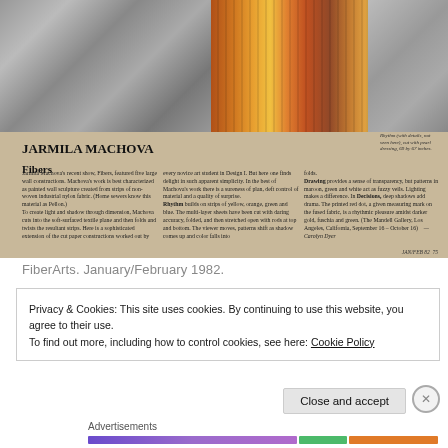[Figure (photo): Scanned magazine page showing Jarmila Machova fiber art works. Left half shows black and white geometric sculptural fiber constructions. Right half shows colorful woven textile in warm tones of orange, red, yellow, and green with geometric patterns.]
Rhythm (with details, not seen here), cut with pearl dressing, 69 by 67 inches.
JARMILA MACHOVA
Fibers
Jarmila Machova's recent show, Fibers, featured five large wall constructions. Machova's work is best characterized as painted wall sculpture created from strips of non-woven industrial nylon fabric. (Home sewers know this material as Pellon.) To create light and shadow through dimension, Machova cuts into the soft-surfaced textile plane and then folds and twists the resultant strips. Here is a sophisticated extension of the cut paper constructions worked out by every novice art student in Design I. But here one finds delight in such apparent simplicity. In the best of Machova's work there is a sureness of plan, deft control of material and a quality of surprise. Rhythm builds on strips of yellow, orange, green and blue. The multi-layer sheets have been cut with daring accuracy, folded, and then stretched open with rods at top and bottom. The viewer moves, patterns shift as shadow comes up and color falls into folds. Drawing provides a sense of transparency, but patterns in maroon, green and white act as fuzzy veils. Lighting makes a difference. In Decisions, deep shadows add drama. The printed red dot, a given measuring mark on the fused fabric, is a rhythmic pleasure amidst darker gold, fuschia and green. (The Mandell Gallery, Los Angeles, California, September 16 – October 16) —Carolyn Dyer
JAN/FEB 82  75
FiberArts. January/February 1982.
Privacy & Cookies: This site uses cookies. By continuing to use this website, you agree to their use.
To find out more, including how to control cookies, see here: Cookie Policy
Close and accept
Advertisements